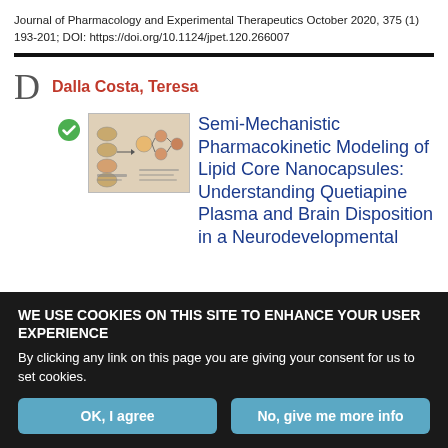Journal of Pharmacology and Experimental Therapeutics October 2020, 375 (1) 193-201; DOI: https://doi.org/10.1124/jpet.120.266007
Dalla Costa, Teresa
Semi-Mechanistic Pharmacokinetic Modeling of Lipid Core Nanocapsules: Understanding Quetiapine Plasma and Brain Disposition in a Neurodevelopmental
WE USE COOKIES ON THIS SITE TO ENHANCE YOUR USER EXPERIENCE
By clicking any link on this page you are giving your consent for us to set cookies.